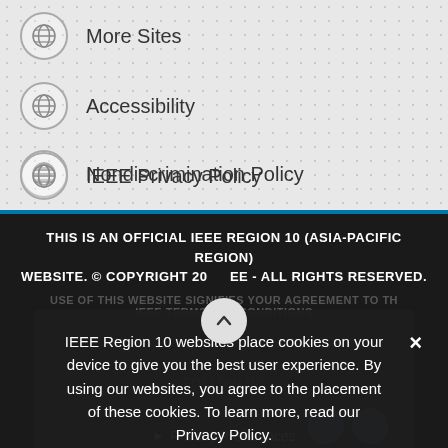More Sites
Accessibility
Nondiscrimination Policy
IEEE Privacy Policy
THIS IS AN OFFICIAL IEEE REGION 10 (ASIA-PACIFIC REGION) WEBSITE. © COPYRIGHT 20 - ALL RIGHTS RESERVED.
USE OF THIS WEBSITE SIGNIFIES YOUR AGREEMENT TO THE IEEE TERMS AND CONDITIONS.
FOLLOW US
IEEE Region 10 websites place cookies on your device to give you the best user experience. By using our websites, you agree to the placement of these cookies. To learn more, read our Privacy Policy.
Privacy Preferences